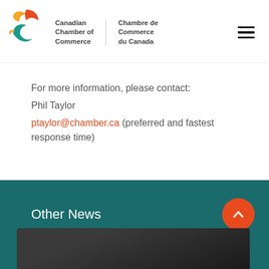[Figure (logo): Canadian Chamber of Commerce / Chambre de Commerce du Canada logo with colorful arc shapes (orange, red, teal)]
For more information, please contact:
Phil Taylor
ptaylor@chamber.ca (preferred and fastest response time)
Other News
[Figure (photo): Partially visible dark news card photo strip at the bottom of the page]